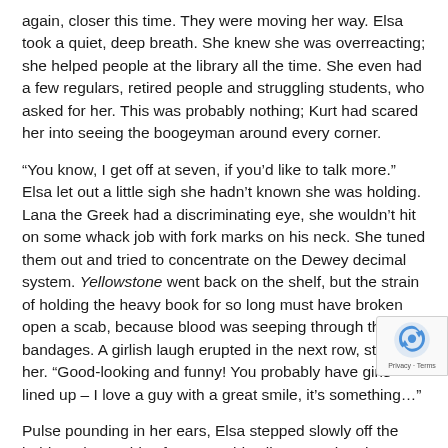again, closer this time. They were moving her way. Elsa took a quiet, deep breath. She knew she was overreacting; she helped people at the library all the time. She even had a few regulars, retired people and struggling students, who asked for her. This was probably nothing; Kurt had scared her into seeing the boogeyman around every corner.
“You know, I get off at seven, if you’d like to talk more.” Elsa let out a little sigh she hadn’t known she was holding. Lana the Greek had a discriminating eye, she wouldn’t hit on some whack job with fork marks on his neck. She tuned them out and tried to concentrate on the Dewey decimal system. Yellowstone went back on the shelf, but the strain of holding the heavy book for so long must have broken open a scab, because blood was seeping through the bandages. A girlish laugh erupted in the next row, startling her. “Good-looking and funny! You probably have girls lined up – I love a guy with a great smile, it’s something…”
Pulse pounding in her ears, Elsa stepped slowly off the ladder. She couldn’t focus, couldn’t listen to what they we— and I saw at the end of the paragraph. She coated the